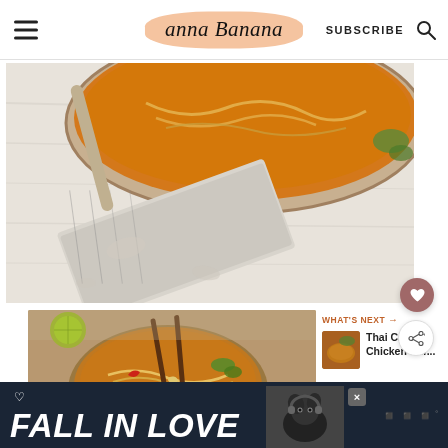Anna Banana — SUBSCRIBE
[Figure (photo): Top-down view of a bowl of orange soup/curry with noodles on a white wooden surface with a folded linen towel]
[Figure (photo): Bowl of Thai noodle dish with chopsticks, garnished with lime and herbs, viewed from above]
WHAT'S NEXT → Thai Cashew Chicken Stir...
[Figure (photo): Advertisement banner: FALL IN LOVE with a dog photo and close button]